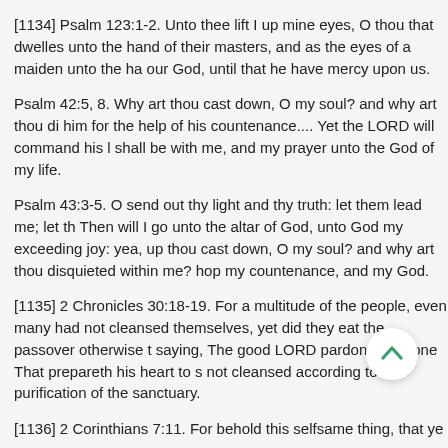[1134] Psalm 123:1-2. Unto thee lift I up mine eyes, O thou that dwelles unto the hand of their masters, and as the eyes of a maiden unto the ha our God, until that he have mercy upon us.
Psalm 42:5, 8. Why art thou cast down, O my soul? and why art thou di him for the help of his countenance.... Yet the LORD will command his l shall be with me, and my prayer unto the God of my life.
Psalm 43:3-5. O send out thy light and thy truth: let them lead me; let th Then will I go unto the altar of God, unto God my exceeding joy: yea, up thou cast down, O my soul? and why art thou disquieted within me? hop my countenance, and my God.
[1135] 2 Chronicles 30:18-19. For a multitude of the people, even many had not cleansed themselves, yet did they eat the passover otherwise t saying, The good LORD pardon every one That prepareth his heart to s not cleansed according to the purification of the sanctuary.
[1136] 2 Corinthians 7:11. For behold this selfsame thing, that ye sorrow